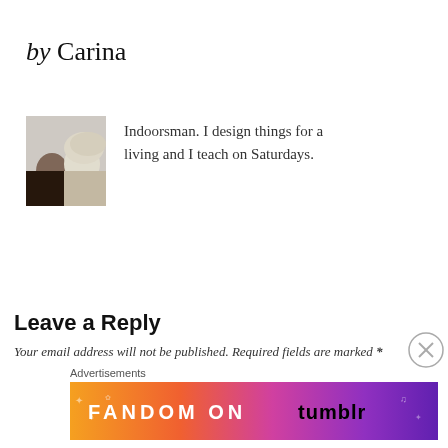by Carina
[Figure (photo): Author photo showing two people close together, one with dark hair and one with light/blonde hair]
Indoorsman. I design things for a living and I teach on Saturdays.
Leave a Reply
Your email address will not be published. Required fields are marked *
Advertisements
[Figure (illustration): FANDOM ON tumblr advertisement banner with colorful gradient background from orange to purple]